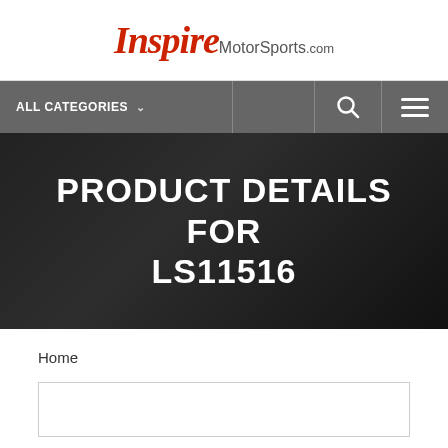Inspire MotorSports.com
[Figure (screenshot): Navigation bar with ALL CATEGORIES dropdown, search icon, and hamburger menu icon on dark grey background]
PRODUCT DETAILS FOR LS11516
Home
[Figure (other): Empty product detail box/container outline]